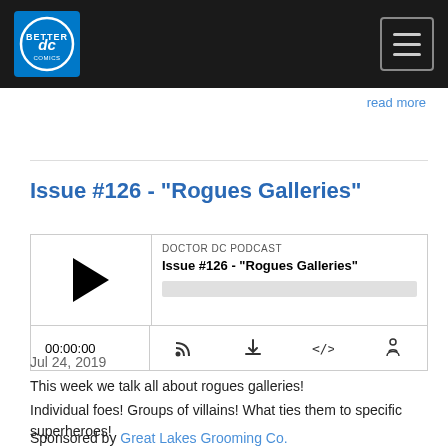Doctor DC Podcast website header with DC logo and hamburger menu
read more
Issue #126 - "Rogues Galleries"
[Figure (screenshot): Podcast player embed showing DOCTOR DC PODCAST, Issue #126 - "Rogues Galleries", play button, progress bar, time display 00:00:00, and control icons]
Jul 24, 2019
This week we talk all about rogues galleries!
Individual foes! Groups of villains! What ties them to specific superheroes!
Sponsored by Great Lakes Grooming Co.
Intro Music by Aaron Barry